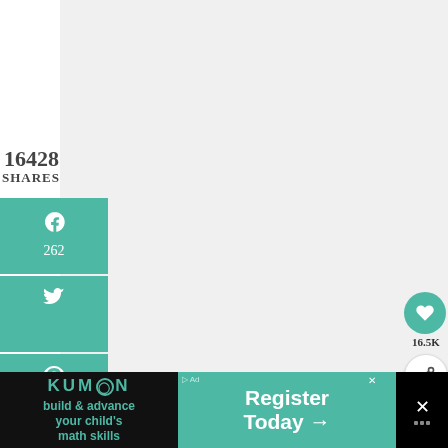16428
SHARES
[Figure (infographic): Social share sidebar with Facebook (262), Twitter, Pinterest (16166), Reddit buttons in teal/green color]
[Figure (infographic): Heart/save button showing 16.5K and a share button below it]
[Figure (infographic): What's Next widget showing book image and text 'Our Relaxed Kindergarte...']
Step 3. Show your kid a prize they get when
they have read at least for a half
le
[Figure (infographic): Kumon advertisement banner: 'build & advance your child's math skills' and 'Register Today →' button]